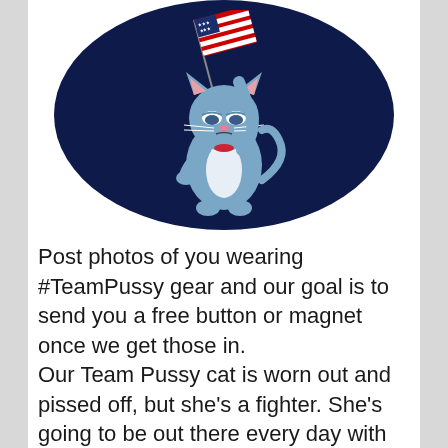[Figure (illustration): A cartoon blue cat holding an American flag, sitting on a dark navy blue circular background. The cat appears patriotic with red and white flag stripes and blue field with stars.]
Post photos of you wearing #TeamPussy gear and our goal is to send you a free button or magnet once we get those in.
Our Team Pussy cat is worn out and pissed off, but she's a fighter. She's going to be out there every day with all of you,